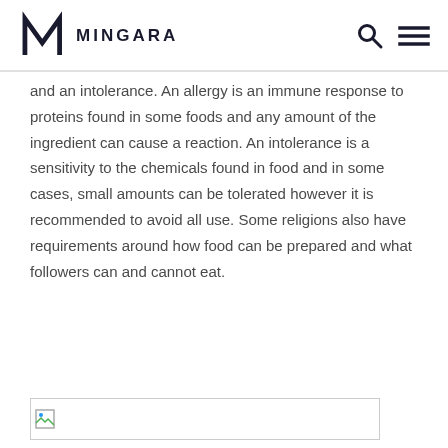MINGARA
and an intolerance. An allergy is an immune response to proteins found in some foods and any amount of the ingredient can cause a reaction. An intolerance is a sensitivity to the chemicals found in food and in some cases, small amounts can be tolerated however it is recommended to avoid all use. Some religions also have requirements around how food can be prepared and what followers can and cannot eat.
[Figure (photo): Partially loaded image placeholder at the bottom of the page]